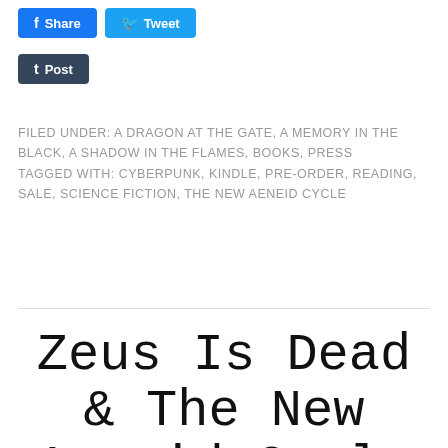[Figure (screenshot): Social share buttons: Share (Facebook, blue), Tweet (Twitter, blue), Post (Tumblr, dark blue)]
FILED UNDER: A DRAGON AT THE GATE, A MEMORY IN THE BLACK, A SHADOW IN THE FLAMES, BOOKS, PRESS
TAGGED WITH: CYBERPUNK, KINDLE, PRE-ORDER, READING, SALE, SCIENCE FICTION, THE NEW AENEID CYCLE
Zeus Is Dead & The New Aeneid Cycle returns to paperback!